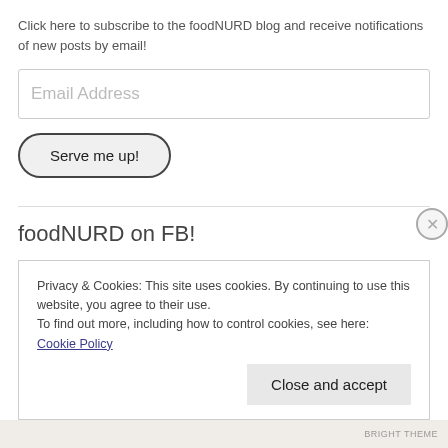Click here to subscribe to the foodNURD blog and receive notifications of new posts by email!
Email Address
Serve me up!
foodNURD on FB!
Privacy & Cookies: This site uses cookies. By continuing to use this website, you agree to their use.
To find out more, including how to control cookies, see here: Cookie Policy
Close and accept